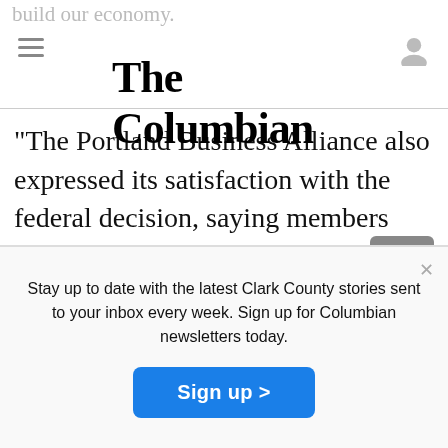The Columbian
The Portland Business Alliance also expressed its satisfaction with the federal decision, saying members support the increased freight mobility the construction will bring and that it was “tremendous news.”
Stay up to date with the latest Clark County stories sent to your inbox every week. Sign up for Columbian newsletters today.